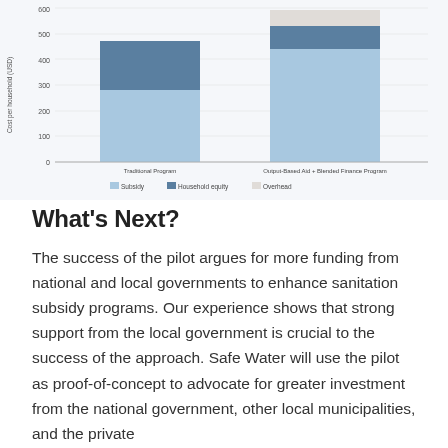[Figure (stacked-bar-chart): ]
What’s Next?
The success of the pilot argues for more funding from national and local governments to enhance sanitation subsidy programs. Our experience shows that strong support from the local government is crucial to the success of the approach. Safe Water will use the pilot as proof-of-concept to advocate for greater investment from the national government, other local municipalities, and the private